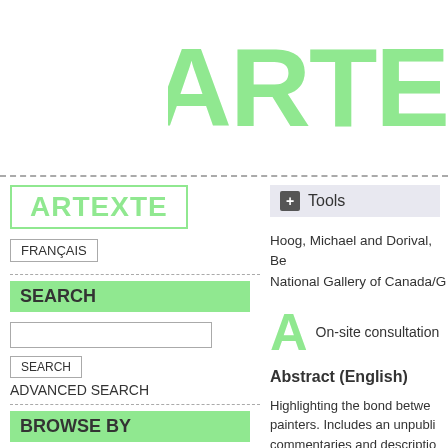e-ARTE
[Figure (logo): e-ARTEXTE logo in large light green bold text on white background]
ARTEXTE
FRANÇAIS
SEARCH
ADVANCED SEARCH
BROWSE BY
ARTIST
AUTHOR
CRITIC/CURATOR/HISTORIAN
ITEM TYPE
Tools
Hoog, Michael and Dorival, Be... National Gallery of Canada/G...
On-site consultation
Abstract (English)
Highlighting the bond betwe... painters. Includes an unpubli... commentaries and descriptio...